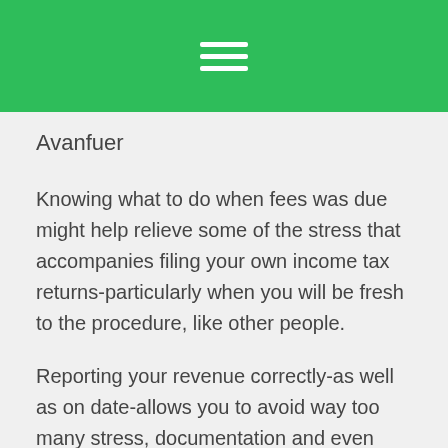Avanfuer
Knowing what to do when fees was due might help relieve some of the stress that accompanies filing your own income tax returns-particularly when you will be fresh to the procedure, like other people.
Reporting your revenue correctly-as well as on date-allows you to avoid way too many stress, documentation and even offending costs, while focusing on your own degree.